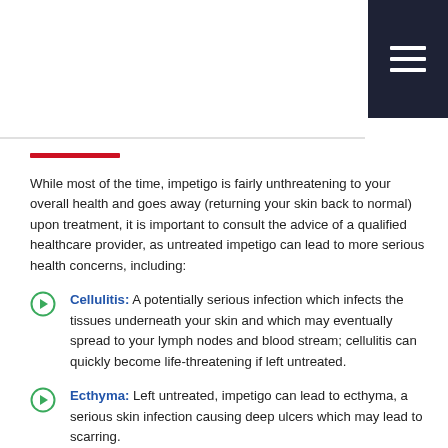Impetigo Complications
While most of the time, impetigo is fairly unthreatening to your overall health and goes away (returning your skin back to normal) upon treatment, it is important to consult the advice of a qualified healthcare provider, as untreated impetigo can lead to more serious health concerns, including:
Cellulitis: A potentially serious infection which infects the tissues underneath your skin and which may eventually spread to your lymph nodes and blood stream; cellulitis can quickly become life-threatening if left untreated.
Ecthyma: Left untreated, impetigo can lead to ecthyma, a serious skin infection causing deep ulcers which may lead to scarring.
In the gravest of impetigo complications, post-streptococcal glomerulonephritis, a severe kidney disease occurs following strep infection, though this is very rare (occurring, mainly in children in less than 1% of cases).